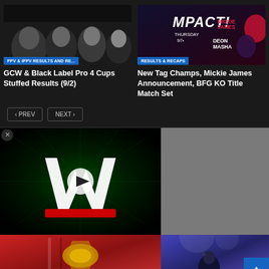[Figure (screenshot): GCW & Black Label Pro thumbnail with wrestlers]
PPV & IPPV RESULTS AND RE...
GCW & Black Label Pro 4 Cups Stuffed Results (9/2)
[Figure (screenshot): IMPACT Wrestling thumbnail with Mickie James]
RESULTS & RECAPS
New Tag Champs, Mickie James Announcement, BFG KO Title Match Set
[Figure (screenshot): WWE logo video thumbnail with play button]
[Figure (screenshot): Bottom left thumbnail with wrestler holding belt]
[Figure (screenshot): Bottom right thumbnail with performer under lights]